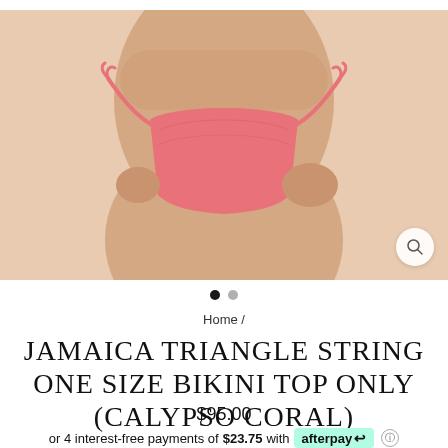[Figure (photo): Product photo showing a model wearing a coral/salmon colored string bikini bottom with side ties, cropped to show torso only on white background. A magnifying glass icon appears in the bottom right of the image.]
Home /
JAMAICA TRIANGLE STRING ONE SIZE BIKINI TOP ONLY (CALYPSO CORAL)
$95.00
or 4 interest-free payments of $23.75 with afterpay